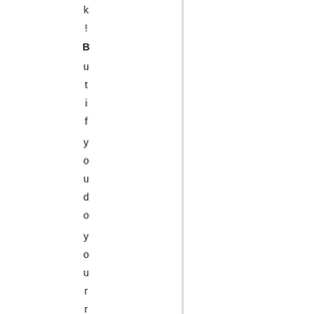k!
But if you do your research, i